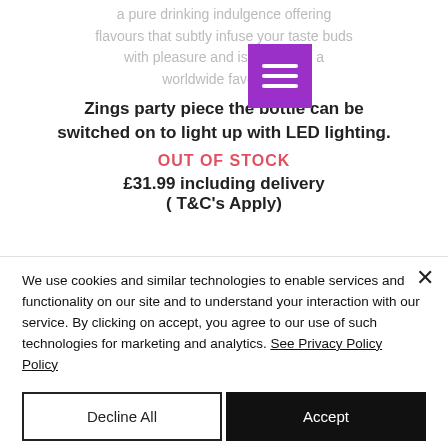a pure drinking indulgence offering flavours that subtly infuse your taste buds with pleasure and is becoming a worldwide favourite.
Zings party piece the bottle can be switched on to light up with LED lighting.
OUT OF STOCK
£31.99 including delivery
( T&C's Apply)
We use cookies and similar technologies to enable services and functionality on our site and to understand your interaction with our service. By clicking on accept, you agree to our use of such technologies for marketing and analytics. See Privacy Policy
Decline All
Accept
Cookie Settings